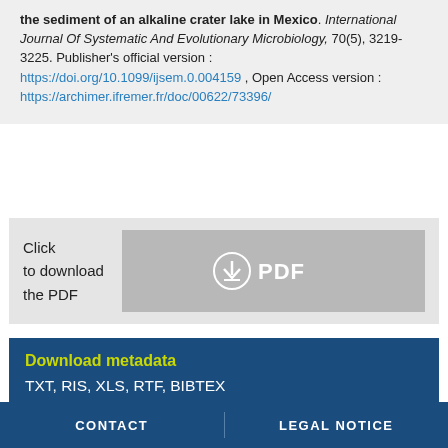the sediment of an alkaline crater lake in Mexico. International Journal Of Systematic And Evolutionary Microbiology, 70(5), 3219-3225. Publisher's official version : https://doi.org/10.1099/ijsem.0.004159 , Open Access version : https://archimer.ifremer.fr/doc/00622/73396/
Click
to download
the PDF
[Figure (other): PDF download button with download icon and text PDF]
Download metadata
TXT, RIS, XLS, RTF, BIBTEX
CONTACT | LEGAL NOTICE